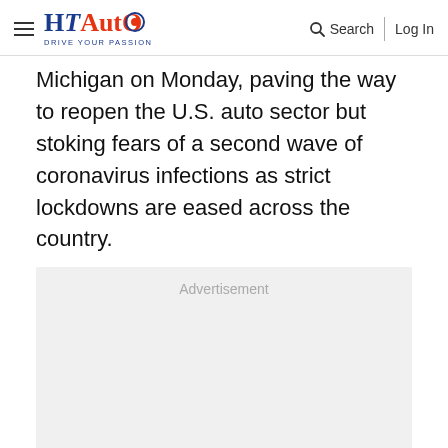HT Auto – Drive Your Passion | Search | Log In
Michigan on Monday, paving the way to reopen the U.S. auto sector but stoking fears of a second wave of coronavirus infections as strict lockdowns are eased across the country.
[Figure (other): Advertisement placeholder box with light gray background]